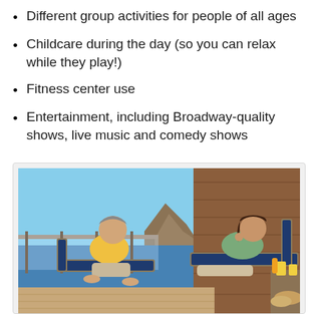Different group activities for people of all ages
Childcare during the day (so you can relax while they play!)
Fitness center use
Entertainment, including Broadway-quality shows, live music and comedy shows
[Figure (photo): A couple relaxing on a cruise ship deck in lounge chairs. The man wears a yellow polo shirt, the woman a green top. Behind them is a wooden wall panel and a glass railing with a blue ocean and rocky coastline in the background. A table with drinks and food is visible to the right.]